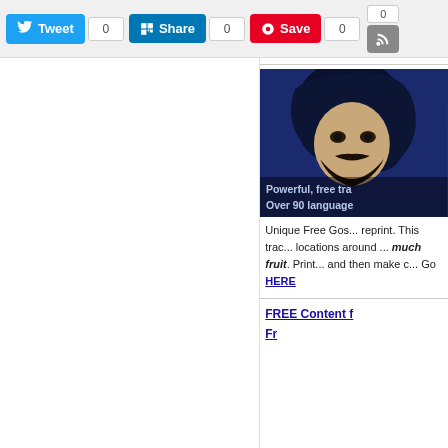Tweet 0 | Share 0 | Save 0 | 0 | RSS
[Figure (illustration): Illustration of a dark-haired bearded man with text overlay 'Powerful, free tra... Over 90 language...' on a dark blue background]
Unique Free Gos... reprint. This trac... locations around ... much fruit. Print... and then make c... Go HERE
FREE Content f...
Fr...